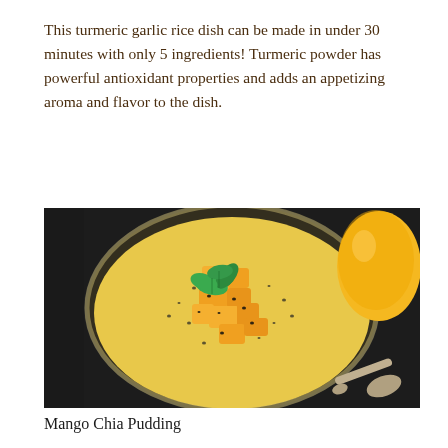This turmeric garlic rice dish can be made in under 30 minutes with only 5 ingredients! Turmeric powder has powerful antioxidant properties and adds an appetizing aroma and flavor to the dish.
[Figure (photo): Overhead view of a glass bowl containing mango chia pudding with golden-yellow mango cubes, black chia seeds, and fresh mint leaves on top. A whole yellow mango and a silver spoon are visible on the dark slate background beside the bowl.]
Mango Chia Pudding